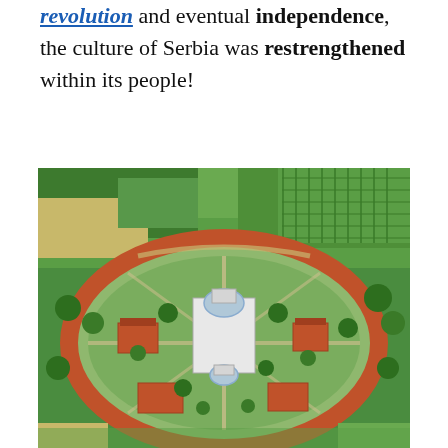revolution and eventual independence, the culture of Serbia was restrengthened within its people!
[Figure (photo): Aerial photograph of a Serbian Orthodox monastery complex with white-domed church building at center, surrounded by red-roofed buildings enclosed within curved stone walls, set amid green fields and trees.]